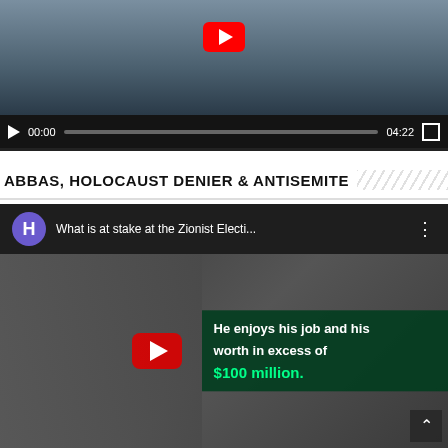[Figure (screenshot): Video player showing a woman in purple dress standing in a street, with YouTube play button overlay and playback controls showing 00:00 / 04:22]
ABBAS, HOLOCAUST DENIER & ANTISEMITE
[Figure (screenshot): YouTube video thumbnail showing a man (Abbas) smiling on the left, and a building with text overlay 'He enjoys his job and his worth in excess of $100 million.' Video title: 'What is at stake at the Zionist Electi...' with YouTube play button]